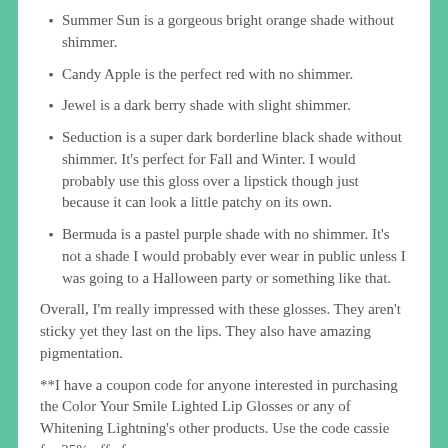Summer Sun is a gorgeous bright orange shade without shimmer.
Candy Apple is the perfect red with no shimmer.
Jewel is a dark berry shade with slight shimmer.
Seduction is a super dark borderline black shade without shimmer.  It's perfect for Fall and Winter.  I would probably use this gloss over a lipstick though just because it can look a little patchy on its own.
Bermuda is a pastel purple shade with no shimmer.  It's not a shade I would probably ever wear in public unless I was going to a Halloween party or something like that.
Overall, I'm really impressed with these glosses.  They aren't sticky yet they last on the lips.  They also have amazing pigmentation.
**I have a coupon code for anyone interested in purchasing the Color Your Smile Lighted Lip Glosses or any of Whitening Lightning's other products.  Use the code cassie for 25% off of